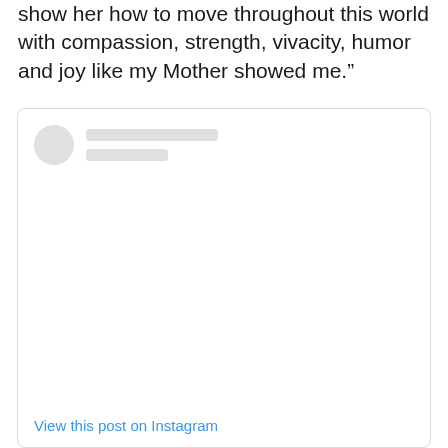show her how to move throughout this world with compassion, strength, vivacity, humor and joy like my Mother showed me.”
[Figure (screenshot): Instagram embed placeholder showing a loading skeleton with avatar circle, two placeholder lines for username/handle, a blank white content area, and a 'View this post on Instagram' link at the bottom.]